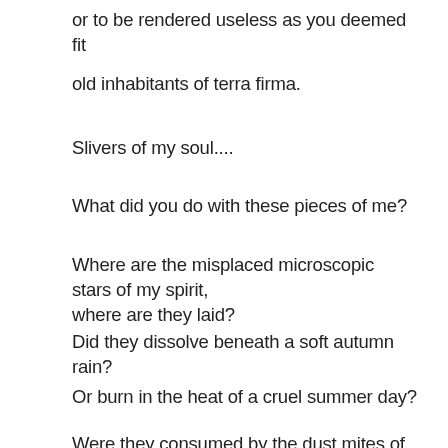or to be rendered useless as you deemed fit
old inhabitants of terra firma.
Slivers of my soul....
What did you do with these pieces of me?
Where are the misplaced microscopic stars of my spirit, where are they laid?
Did they dissolve beneath a soft autumn rain?
Or burn in the heat of a cruel summer day?
Were they consumed by the dust mites of fate?